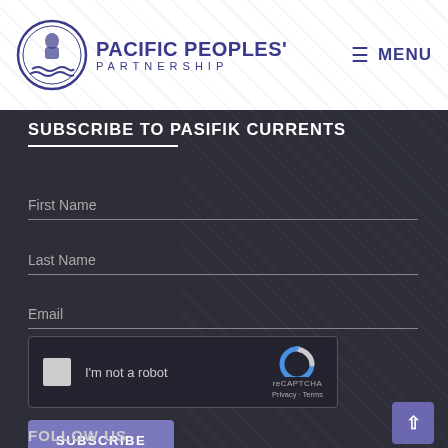[Figure (logo): Pacific Peoples' Partnership logo with circular emblem and text]
SUBSCRIBE TO PASIFIK CURRENTS
First Name
Last Name
Email
[Figure (screenshot): reCAPTCHA widget with checkbox 'I'm not a robot' and reCAPTCHA logo with Privacy - Terms links]
SUBSCRIBE
FOLLOW US